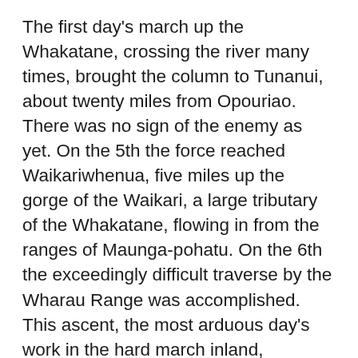The first day's march up the Whakatane, crossing the river many times, brought the column to Tunanui, about twenty miles from Opouriao. There was no sign of the enemy as yet. On the 5th the force reached Waikariwhenua, five miles up the gorge of the Waikari, a large tributary of the Whakatane, flowing in from the ranges of Maunga-pohatu. On the 6th the exceedingly difficult traverse by the Wharau Range was accomplished. This ascent, the most arduous day's work in the hard march inland, involved a climb of more than a thousand feet up a densely forested mountain-side; the ascent was necessary in order to avoid an unfordable part of the Whakatane where the river ran between high cliffs a short distance above the junction with the Waikari at Te Kuha-o-